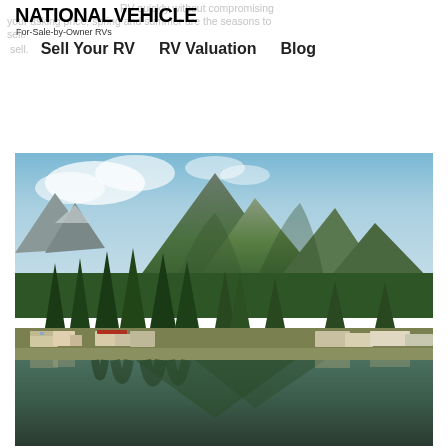NATIONAL VEHICLE For-Sale-by-Owner RVs | Sell Your RV | RV Valuation | Blog
RV quickly without compromising your asking price; spring and summer are the seasons to sell.
[Figure (photo): Scenic lakeside RV campground with large evergreen trees, a calm reflective lake in the foreground, and a dramatic mountain range with lush green slopes and rocky peaks in the background. Multiple RVs and campers are parked along the shore.]